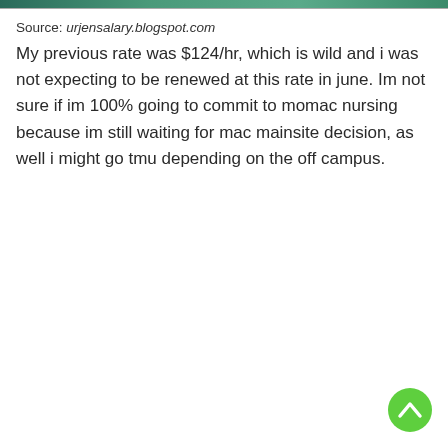[Figure (photo): Partial image visible at top of page, appears to be a banner or header image]
Source: urjensalary.blogspot.com
My previous rate was $124/hr, which is wild and i was not expecting to be renewed at this rate in june. Im not sure if im 100% going to commit to momac nursing because im still waiting for mac mainsite decision, as well i might go tmu depending on the off campus.